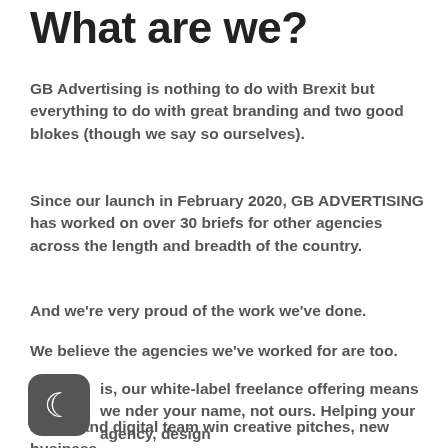What are we?
GB Advertising is nothing to do with Brexit but everything to do with great branding and two good blokes (though we say so ourselves).
Since our launch in February 2020, GB ADVERTISING has worked on over 30 briefs for other agencies across the length and breadth of the country.
And we're very proud of the work we've done.
We believe the agencies we've worked for are too.
is, our white-label freelance offering means we nder your name, not ours. Helping your agency, design studio and digital team win creative pitches, new business